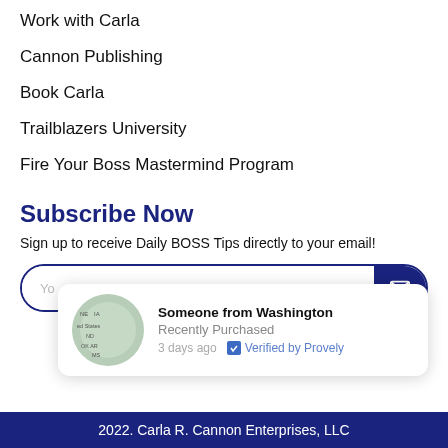Work with Carla
Cannon Publishing
Book Carla
Trailblazers University
Fire Your Boss Mastermind Program
Subscribe Now
Sign up to receive Daily BOSS Tips directly to your email!
Someone from Washington
Recently Purchased
3 days ago   Verified by Provely
2022. Carla R. Cannon Enterprises, LLC